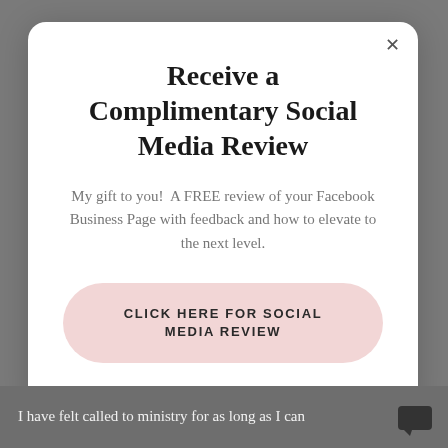Receive a Complimentary Social Media Review
My gift to you!  A FREE review of your Facebook Business Page with feedback and how to elevate to the next level.
CLICK HERE FOR SOCIAL MEDIA REVIEW
I have felt called to ministry for as long as I can